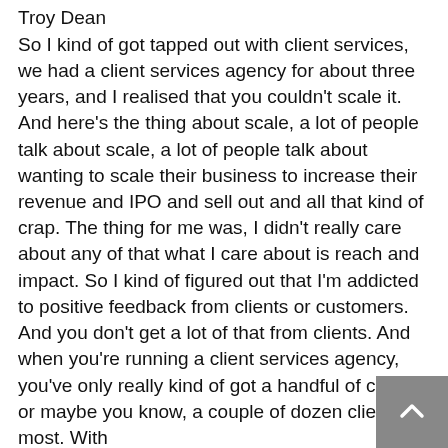Troy Dean
So I kind of got tapped out with client services, we had a client services agency for about three years, and I realised that you couldn't scale it. And here's the thing about scale, a lot of people talk about scale, a lot of people talk about wanting to scale their business to increase their revenue and IPO and sell out and all that kind of crap. The thing for me was, I didn't really care about any of that what I care about is reach and impact. So I kind of figured out that I'm addicted to positive feedback from clients or customers. And you don't get a lot of that from clients. And when you're running a client services agency, you've only really kind of got a handful of clients, or maybe you know, a couple of dozen clients at most. With